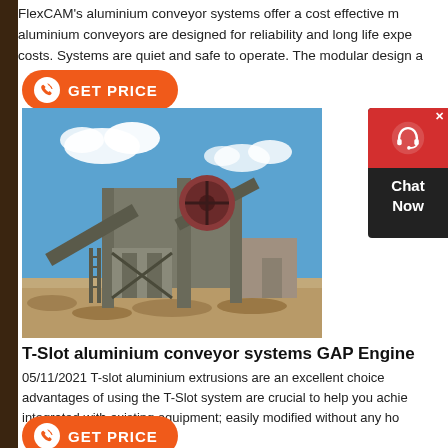FlexCAM's aluminium conveyor systems offer a cost effective ... aluminium conveyors are designed for reliability and long life expe... costs. Systems are quiet and safe to operate. The modular design a...
[Figure (other): Orange 'GET PRICE' button with phone/signal icon]
[Figure (photo): Industrial quarry crushing plant with conveyor system against blue sky with white clouds]
[Figure (other): Red and dark chat widget showing headset icon and 'Chat Now' text]
T-Slot aluminium conveyor systems GAP Engine...
05/11/2021 T-slot aluminium extrusions are an excellent choice... advantages of using the T-Slot system are crucial to help you achie... integrated with existing equipment; easily modified without any ho...
[Figure (other): Orange 'GET PRICE' button with phone/signal icon]